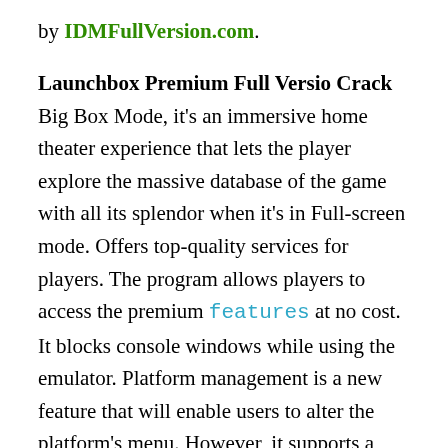by IDMFullVersion.com.
Launchbox Premium Full Versio Crack Big Box Mode, it's an immersive home theater experience that lets the player explore the massive database of the game with all its splendor when it's in Full-screen mode. Offers top-quality services for players. The program allows players to access the premium features at no cost. It blocks console windows while using the emulator. Platform management is a new feature that will enable users to alter the platform's menu. However, it supports a wide range of emulators and PC games to provide an all-in-one solution for